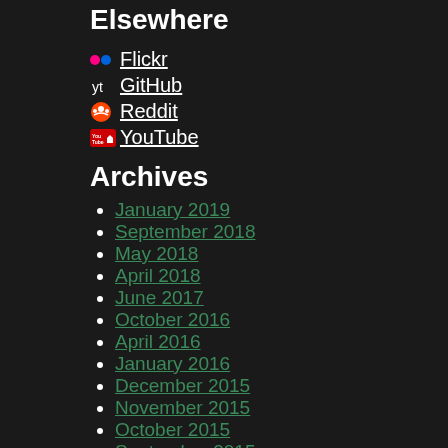Elsewhere
Flickr
GitHub
Reddit
YouTube
Archives
January 2019
September 2018
May 2018
April 2018
June 2017
October 2016
April 2016
January 2016
December 2015
November 2015
October 2015
September 2015
August 2015
July 2015
June 2015